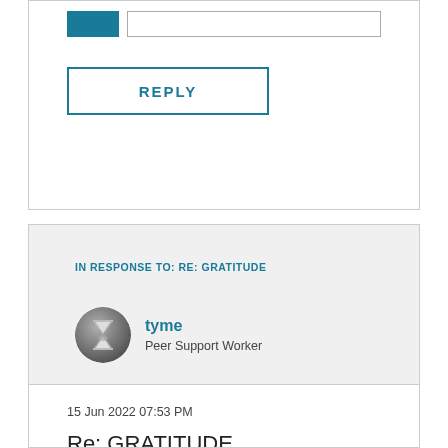[Figure (screenshot): Reply form area with user avatar placeholder and input field, plus a REPLY button below]
IN RESPONSE TO: RE: GRATITUDE
tyme
Peer Support Worker
15 Jun 2022 07:53 PM
Re: GRATITUDE
That's so beautiful @Krishna . Thank you for